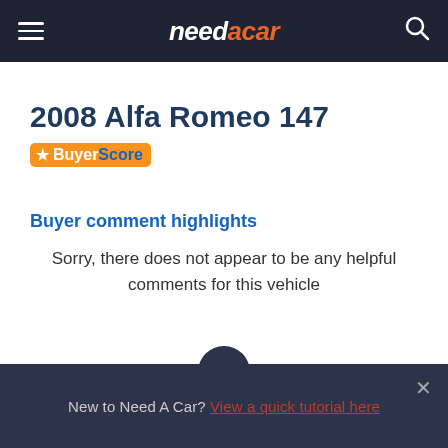needacar
2008 Alfa Romeo 147
[Figure (logo): BuyerScore badge with orange star icon and two-tone text: 'Buyer' in white on orange background, 'Score' in blue]
Buyer comment highlights
Sorry, there does not appear to be any helpful comments for this vehicle
New to Need A Car? View a quick tutorial here